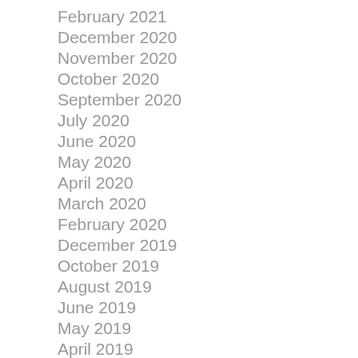February 2021
December 2020
November 2020
October 2020
September 2020
July 2020
June 2020
May 2020
April 2020
March 2020
February 2020
December 2019
October 2019
August 2019
June 2019
May 2019
April 2019
March 2019